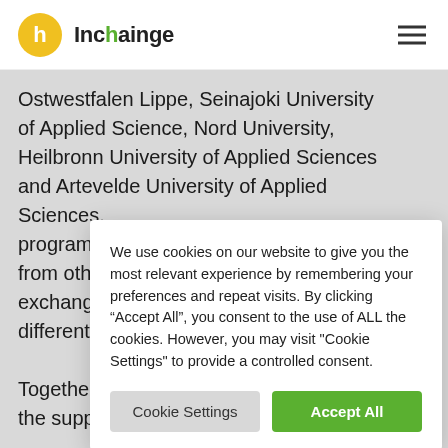[Figure (logo): Inchainge logo: yellow circle with white 'h' letter, followed by text 'Inchainge' with green 'a']
Ostwestfalen Lippe, Seinajoki University of Applied Science, Nord University, Heilbronn University of Applied Sciences and Artevelde University of Applied Sciences. programs from othe exchange different
Together the supp
We use cookies on our website to give you the most relevant experience by remembering your preferences and repeat visits. By clicking “Accept All”, you consent to the use of ALL the cookies. However, you may visit "Cookie Settings" to provide a controlled consent.
Cookie Settings | Accept All